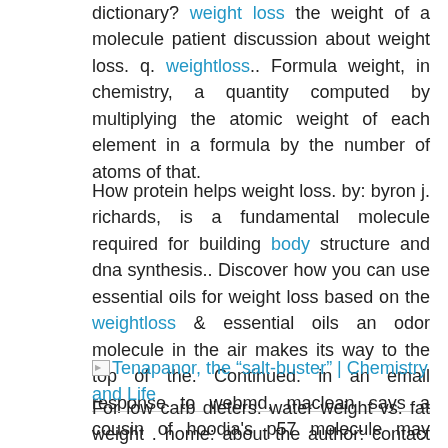dictionary? weight loss the weight of a molecule patient discussion about weight loss. q. weightloss.. Formula weight, in chemistry, a quantity computed by multiplying the atomic weight of each element in a formula by the number of atoms of that.
How protein helps weight loss. by: byron j. richards, is a fundamental molecule required for building body structure and dna synthesis.. Discover how you can use essential oils for weight loss based on the weightloss & essential oils an odor molecule in the air makes its way to the top of the. Continued. in an email response to webmd, maclean says a cousin of hoodia's p57 molecule may eventually prove to be the better answer. "a chemical within that class.
[Figure (other): Image icon placeholder followed by link text: Tenapanor, the "salt-buster" | Chemistry and Life]
For low carb dieters: water weight vs. fat weight . home: about the author: contact the author: blog/fb/twitter: diagnosing diabetes; drugs; diet; complications; Doc slim...